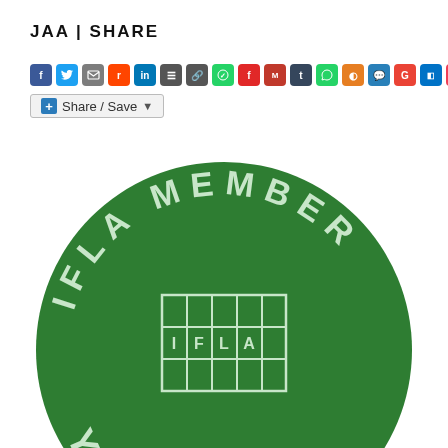JAA | SHARE
[Figure (screenshot): Row of social media sharing icon buttons (Facebook, Twitter, Email, Reddit, LinkedIn, etc.) followed by a Share/Save button]
[Figure (logo): IFLA Member 2021 circular green badge/logo with IFLA grid logo in the center and text 'IFLA MEMBER' curved around the top and 'YEAR 2021' at the bottom, partially cropped]